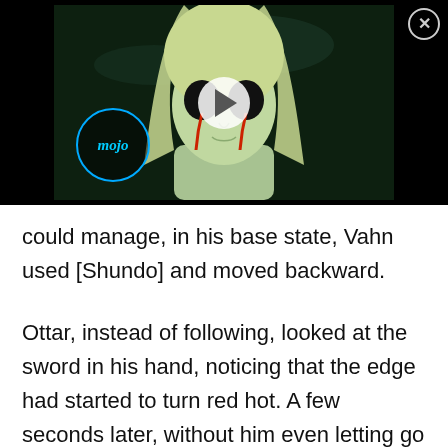[Figure (screenshot): Anime video thumbnail showing a female character with long light-colored hair, dark eyes with red markings, on a dark background, with a play button overlay and a mojo watermark logo in the bottom left. A close (X) button is in the top right corner.]
could manage, in his base state, Vahn used [Shundo] and moved backward.
Ottar, instead of following, looked at the sword in his hand, noticing that the edge had started to turn red hot. A few seconds later, without him even letting go of the handle, the blade began to melt and he remarked, “That weapon of yours…